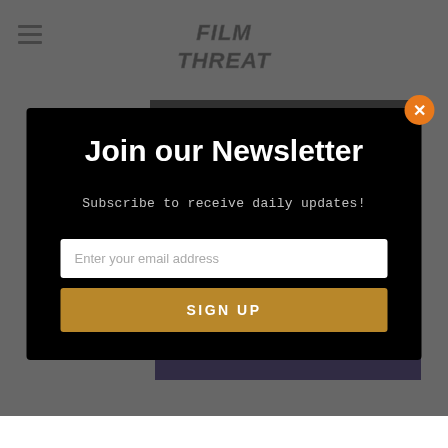Film Threat
[Figure (screenshot): Film Threat website background with dimmed overlay showing a movie banner with 'Click to Rent Now' and 'NewportBeachFilmFest.com' text]
Join our Newsletter
Subscribe to receive daily updates!
Enter your email address
SIGN UP